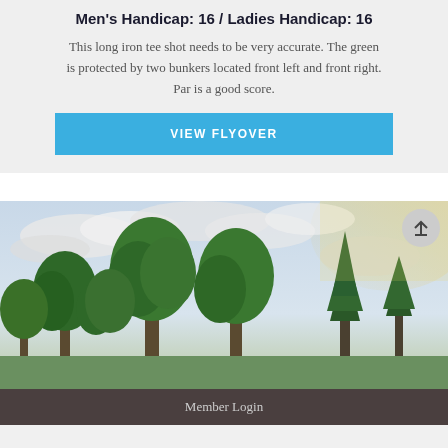Men's Handicap: 16 / Ladies Handicap: 16
This long iron tee shot needs to be very accurate. The green is protected by two bunkers located front left and front right. Par is a good score.
VIEW FLYOVER
[Figure (photo): Outdoor golf course photo showing tall green trees against a partly cloudy sky with soft warm light]
Member Login